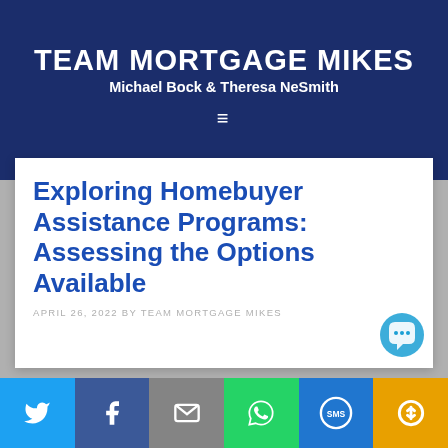TEAM MORTGAGE MIKES
Michael Bock & Theresa NeSmith
Exploring Homebuyer Assistance Programs: Assessing the Options Available
APRIL 26, 2022 BY TEAM MORTGAGE MIKES
[Figure (screenshot): Social share bar with Twitter, Facebook, Email, WhatsApp, SMS, and More buttons]